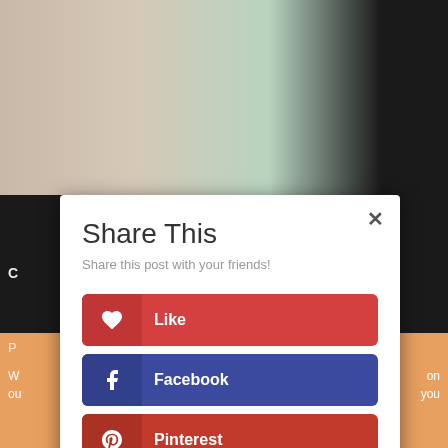[Figure (screenshot): Background showing beauty product photo at top and dark/orange website background]
Share This
Share this post with your friends!
Like
Facebook
Pinterest
Twitter
Gmail